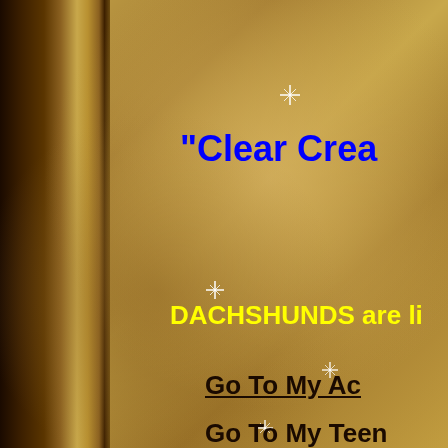[Figure (illustration): Golden textured background with sparkle/star effects and a dark wooden left border panel]
"Clear Crea
DACHSHUNDS are li
Go To My Ac
Go To My Teen